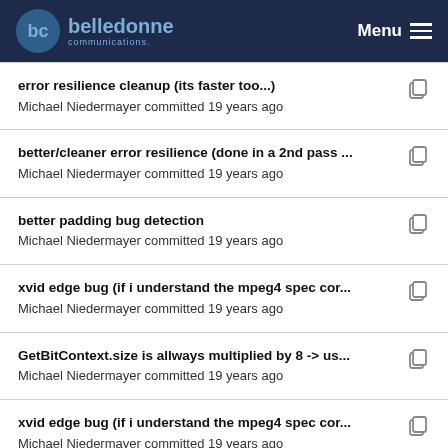belledonne communications Menu
error resilience cleanup (its faster too...)
Michael Niedermayer committed 19 years ago
better/cleaner error resilience (done in a 2nd pass ...
Michael Niedermayer committed 19 years ago
better padding bug detection
Michael Niedermayer committed 19 years ago
xvid edge bug (if i understand the mpeg4 spec cor...
Michael Niedermayer committed 19 years ago
GetBitContext.size is allways multiplied by 8 -> us...
Michael Niedermayer committed 19 years ago
xvid edge bug (if i understand the mpeg4 spec cor...
Michael Niedermayer committed 19 years ago
error resilience cleanup (its faster too...)
Michael Niedermayer committed 19 years ago